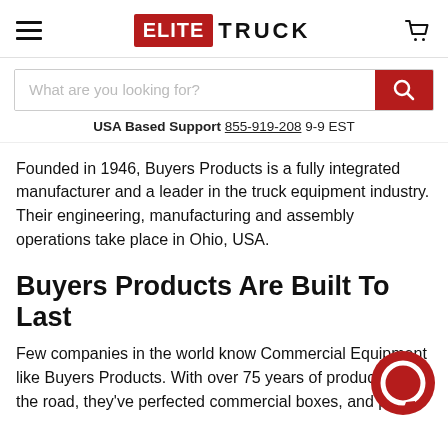Elite Truck — hamburger menu, logo, cart icon
What are you looking for?
USA Based Support  855-919-208  9-9 EST
Founded in 1946, Buyers Products is a fully integrated manufacturer and a leader in the truck equipment industry. Their engineering, manufacturing and assembly operations take place in Ohio, USA.
Buyers Products Are Built To Last
Few companies in the world know Commercial Equipment like Buyers Products. With over 75 years of products on the road, they've perfected commercial boxes, and parts.